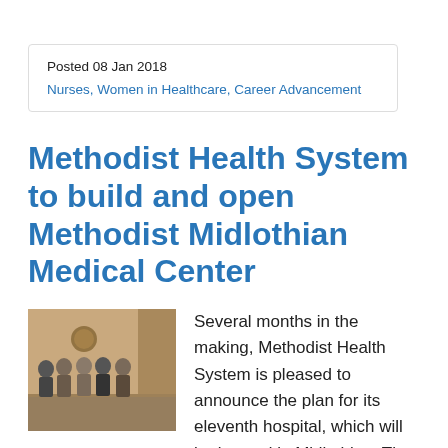Posted 08 Jan 2018
Nurses, Women in Healthcare, Career Advancement
Methodist Health System to build and open Methodist Midlothian Medical Center
[Figure (photo): Group photo of five people standing together in a room, appearing to be at an official meeting or signing event.]
Several months in the making, Methodist Health System is pleased to announce the plan for its eleventh hospital, which will be located in Midlothian. The new facility will be operated in conjunction with the existing Methodist